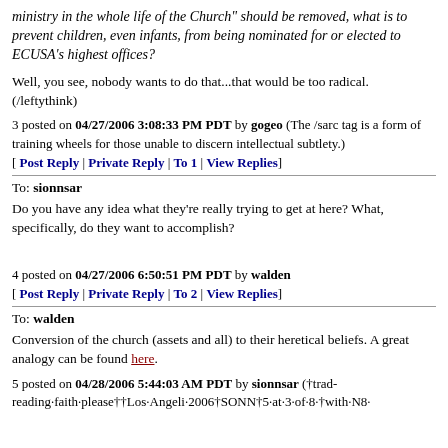ministry in the whole life of the Church" should be removed, what is to prevent children, even infants, from being nominated for or elected to ECUSA's highest offices?
Well, you see, nobody wants to do that...that would be too radical. (/leftythink)
3 posted on 04/27/2006 3:08:33 PM PDT by gogeo (The /sarc tag is a form of training wheels for those unable to discern intellectual subtlety.)
[ Post Reply | Private Reply | To 1 | View Replies]
To: sionnsar
Do you have any idea what they're really trying to get at here? What, specifically, do they want to accomplish?
4 posted on 04/27/2006 6:50:51 PM PDT by walden
[ Post Reply | Private Reply | To 2 | View Replies]
To: walden
Conversion of the church (assets and all) to their heretical beliefs. A great analogy can be found here.
5 posted on 04/28/2006 5:44:03 AM PDT by sionnsar (†trad-reading-faith-please††Los-Angeli-2006†SONN†5-at-3-of-8-†with-N8-